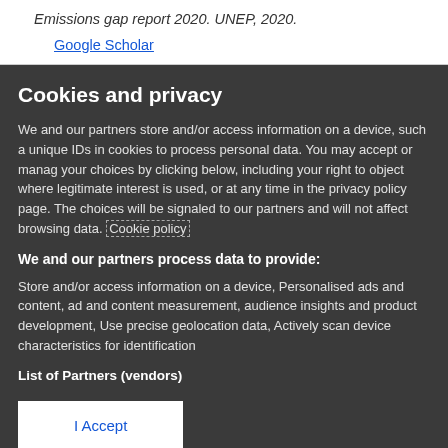Emissions gap report 2020. UNEP, 2020.
Google Scholar
Cookies and privacy
We and our partners store and/or access information on a device, such a unique IDs in cookies to process personal data. You may accept or manage your choices by clicking below, including your right to object where legitimate interest is used, or at any time in the privacy policy page. These choices will be signaled to our partners and will not affect browsing data. Cookie policy
We and our partners process data to provide:
Store and/or access information on a device, Personalised ads and content, ad and content measurement, audience insights and product development, Use precise geolocation data, Actively scan device characteristics for identification
List of Partners (vendors)
I Accept